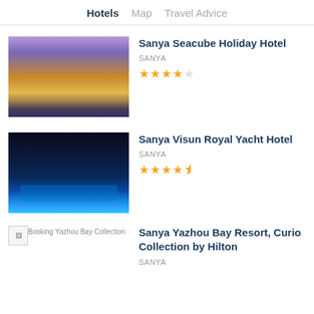Hotels  Map  Travel Advice
[Figure (photo): Hotel building at dusk with lit facade - Sanya Seacube Holiday Hotel]
Sanya Seacube Holiday Hotel
SANYA
4 out of 5 stars
[Figure (photo): Hotel pool and buildings at night - Sanya Visun Royal Yacht Hotel]
Sanya Visun Royal Yacht Hotel
SANYA
4.5 out of 5 stars
[Figure (photo): Broken image placeholder with text: Booking Yazhou Bay Collection]
Sanya Yazhou Bay Resort, Curio Collection by Hilton
SANYA